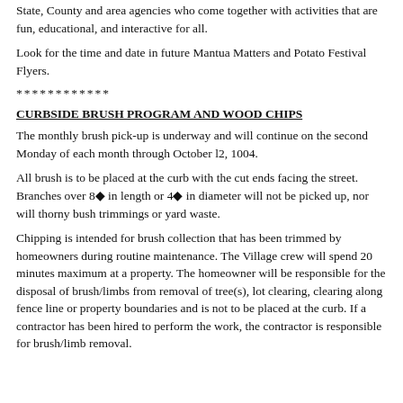State, County and area agencies who come together with activities that are fun, educational, and interactive for all.
Look for the time and date in future Mantua Matters and Potato Festival Flyers.
************
CURBSIDE BRUSH PROGRAM AND WOOD CHIPS
The monthly brush pick-up is underway and will continue on the second Monday of each month through October l2, 1004.
All brush is to be placed at the curb with the cut ends facing the street. Branches over 8◆ in length or 4◆ in diameter will not be picked up, nor will thorny bush trimmings or yard waste.
Chipping is intended for brush collection that has been trimmed by homeowners during routine maintenance. The Village crew will spend 20 minutes maximum at a property. The homeowner will be responsible for the disposal of brush/limbs from removal of tree(s), lot clearing, clearing along fence line or property boundaries and is not to be placed at the curb. If a contractor has been hired to perform the work, the contractor is responsible for brush/limb removal.